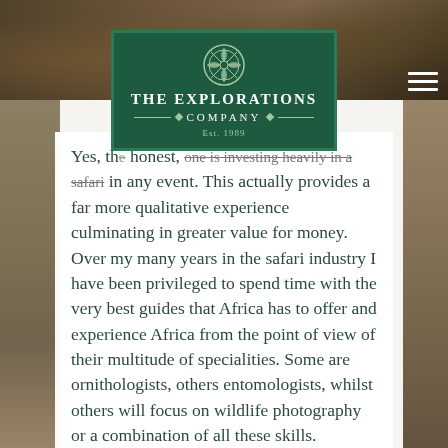[Figure (photo): Top photo strip showing African safari natural environment background with earth tones]
[Figure (logo): The Explorations Company logo — dark green rectangular box with ornate circular emblem at top, text reads THE EXPLORATIONS COMPANY Est. 1989]
Yes, th[e investment is significant if one is honest, one is investing heavily in a safari in any event. This actually provides a far more qualitative experience culminating in greater value for money.
Over my many years in the safari industry I have been privileged to spend time with the very best guides that Africa has to offer and experience Africa from the point of view of their multitude of specialities. Some are ornithologists, others entomologists, whilst others will focus on wildlife photography or a combination of all these skills.
It takes a lifetime of spending time in the bush or any natural environment to acquire this